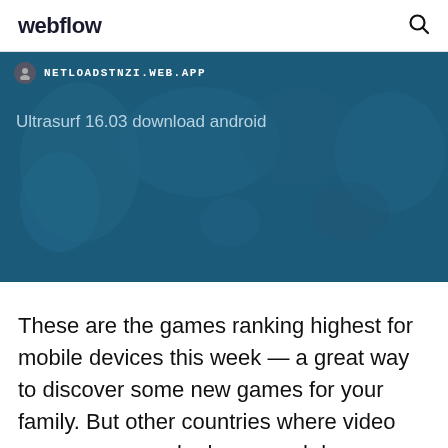webflow
[Figure (screenshot): A dark blue banner showing a browser-like URL bar with NETLOADSTNZI.WEB.APP and a map background, with heading text 'Ultrasurf 16.03 download android']
These are the games ranking highest for mobile devices this week — a great way to discover some new games for your family. But other countries where video games are popular have much lower firearm-related murder rates. In fact, countries where video game consumption is highest tend to be